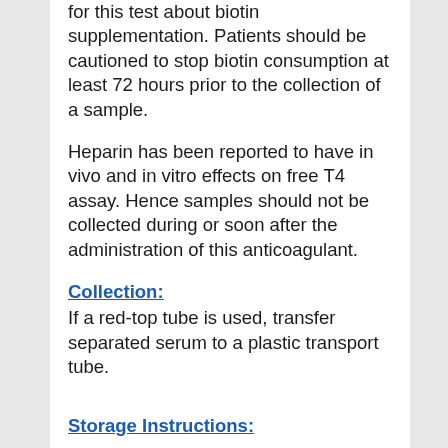for this test about biotin supplementation. Patients should be cautioned to stop biotin consumption at least 72 hours prior to the collection of a sample.
Heparin has been reported to have in vivo and in vitro effects on free T4 assay. Hence samples should not be collected during or soon after the administration of this anticoagulant.
Collection:
If a red-top tube is used, transfer separated serum to a plastic transport tube.
Storage Instructions: